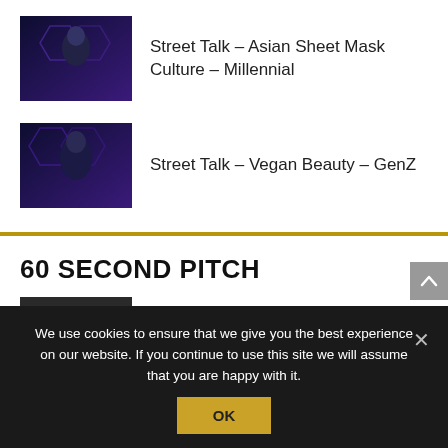Street Talk – Asian Sheet Mask Culture – Millennial
Street Talk – Vegan Beauty – GenZ
60 SECOND PITCH
Symrise presents SymReboot™ microbiotic solutions for sensitive skin
We use cookies to ensure that we give you the best experience on our website. If you continue to use this site we will assume that you are happy with it.